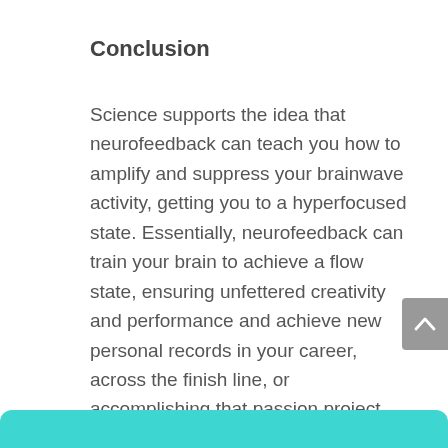Conclusion
Science supports the idea that neurofeedback can teach you how to amplify and suppress your brainwave activity, getting you to a hyperfocused state. Essentially, neurofeedback can train your brain to achieve a flow state, ensuring unfettered creativity and performance and achieve new personal records in your career, across the finish line, or accomplishing that passion project. Getting into “the zone” is more than a buzzword during post-game sports shows. It can be your new state of consciousness.